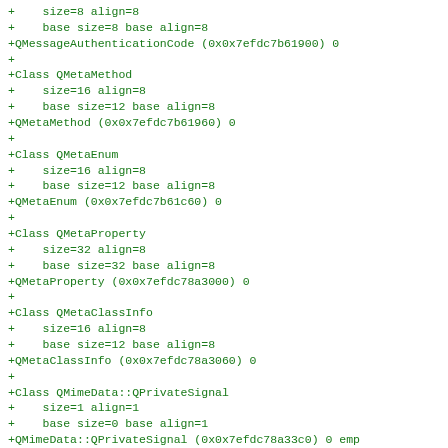+    size=8 align=8
+    base size=8 base align=8
+QMessageAuthenticationCode (0x0x7efdc7b61900) 0
+
+Class QMetaMethod
+    size=16 align=8
+    base size=12 base align=8
+QMetaMethod (0x0x7efdc7b61960) 0
+
+Class QMetaEnum
+    size=16 align=8
+    base size=12 base align=8
+QMetaEnum (0x0x7efdc7b61c60) 0
+
+Class QMetaProperty
+    size=32 align=8
+    base size=32 base align=8
+QMetaProperty (0x0x7efdc78a3000) 0
+
+Class QMetaClassInfo
+    size=16 align=8
+    base size=12 base align=8
+QMetaClassInfo (0x0x7efdc78a3060) 0
+
+Class QMimeData::QPrivateSignal
+    size=1 align=1
+    base size=0 base align=1
+QMimeData::QPrivateSignal (0x0x7efdc78a33c0) 0 emp
+
+Vtable for QMimeData
+QMimeData::7TV9QMimeData: 17u entries